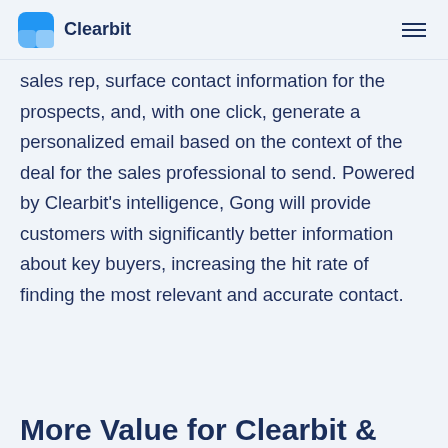Clearbit
sales rep, surface contact information for the prospects, and, with one click, generate a personalized email based on the context of the deal for the sales professional to send. Powered by Clearbit's intelligence, Gong will provide customers with significantly better information about key buyers, increasing the hit rate of finding the most relevant and accurate contact.
More Value for Clearbit &